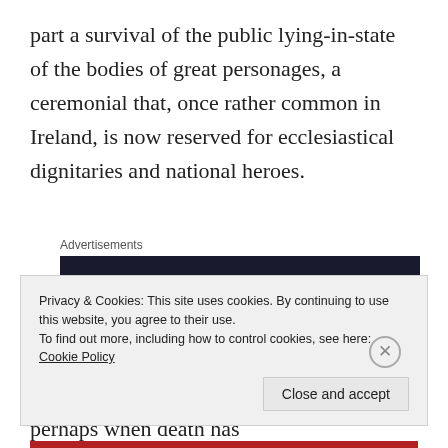part a survival of the public lying-in-state of the bodies of great personages, a ceremonial that, once rather common in Ireland, is now reserved for ecclesiastical dignitaries and national heroes.
[Figure (other): Advertisement banner block with dark background and label 'Advertisements']
The Irish people are at all times addicted to companionship, to association with their fellows, and the desire for it is strongest perhaps when death has
Privacy & Cookies: This site uses cookies. By continuing to use this website, you agree to their use.
To find out more, including how to control cookies, see here: Cookie Policy
[Close and accept button]